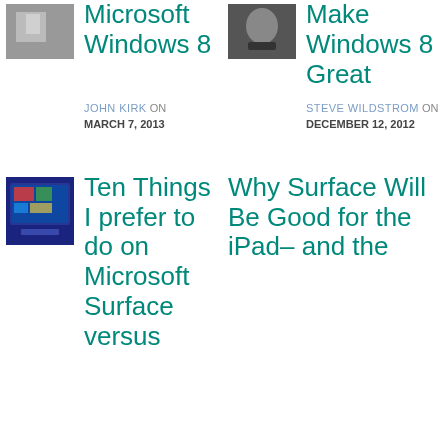[Figure (photo): Thumbnail image of person/laptop top left]
Microsoft Windows 8
JOHN KIRK ON MARCH 7, 2013
[Figure (photo): Thumbnail image dark device top right]
Make Windows 8 Great
STEVE WILDSTROM ON DECEMBER 12, 2012
[Figure (photo): Thumbnail image of Microsoft Surface tablet bottom left]
Ten Things I prefer to do on Microsoft Surface versus
Why Surface Will Be Good for the iPad– and the